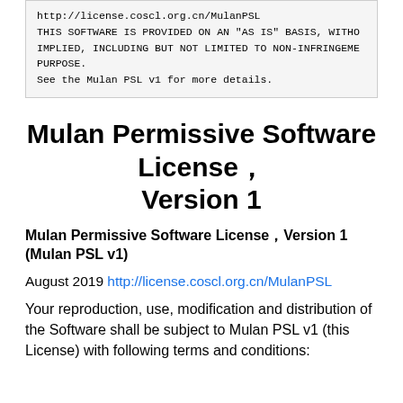http://license.coscl.org.cn/MulanPSL
THIS SOFTWARE IS PROVIDED ON AN "AS IS" BASIS, WITHO
IMPLIED, INCLUDING BUT NOT LIMITED TO NON-INFRINGEME
PURPOSE.
See the Mulan PSL v1 for more details.
Mulan Permissive Software License，Version 1
Mulan Permissive Software License，Version 1 (Mulan PSL v1)
August 2019 http://license.coscl.org.cn/MulanPSL
Your reproduction, use, modification and distribution of the Software shall be subject to Mulan PSL v1 (this License) with following terms and conditions: